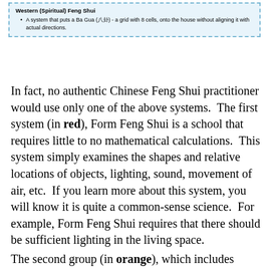Western (Spiritual) Feng Shui
A system that puts a Ba Gua (八卦) - a grid with 8 cells, onto the house without aligning it with actual directions.
In fact, no authentic Chinese Feng Shui practitioner would use only one of the above systems.  The first system (in red), Form Feng Shui is a school that requires little to no mathematical calculations.  This system simply examines the shapes and relative locations of objects, lighting, sound, movement of air, etc.  If you learn more about this system, you will know it is quite a common-sense science.  For example, Form Feng Shui requires that there should be sufficient lighting in the living space.
The second group (in orange), which includes